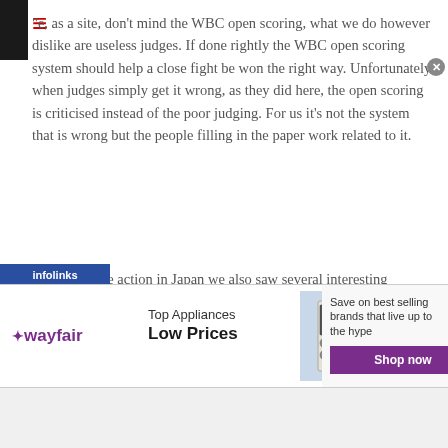We, as a site, don't mind the WBC open scoring, what we do however dislike are useless judges. If done rightly the WBC open scoring system should help a close fight be won the right way. Unfortunately when judges simply get it wrong, as they did here, the open scoring is criticised instead of the poor judging. For us it's not the system that is wrong but the people filling in the paper work related to it.
As well as the action in Japan we also saw several interesting contests in Australia.
The most notable of the Australian bouts saw a major upset as the long reigning WBA Featherweight "super" champion Chris John (48-1-3, 22) was finally defeated. John, battling South African Simpiwe Vetyeka (26-2, 16), was holding his own
[Figure (screenshot): Wayfair advertisement banner: Top Appliances Low Prices, with appliance image and Shop now button]